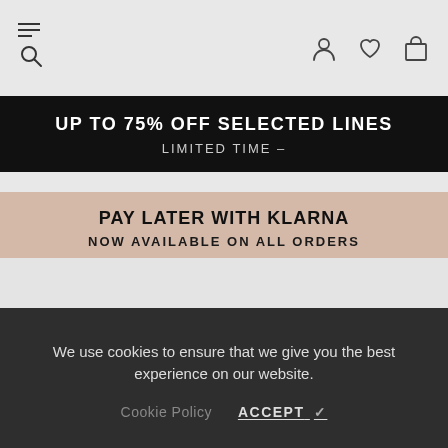[Figure (screenshot): Navigation bar with hamburger menu and search icon on the left, and user account, wishlist heart, and shopping bag icons on the right]
UP TO 75% OFF SELECTED LINES LIMITED TIME –
PAY LATER WITH KLARNA NOW AVAILABLE ON ALL ORDERS
We use cookies to ensure that we give you the best experience on our website.
Cookie Policy  ACCEPT ✓